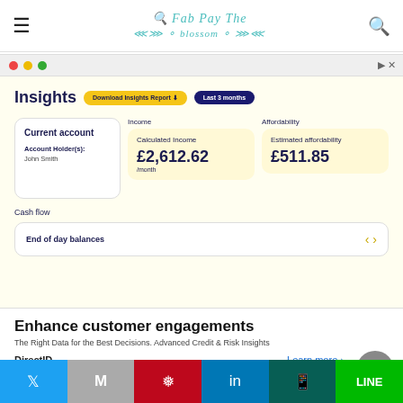Navigation bar with hamburger menu, logo, and search icon
[Figure (screenshot): Finance app Insights dashboard showing current account for John Smith, calculated income of £2,612.62/month, estimated affordability of £511.85, and end of day balances cash flow section]
Enhance customer engagements
The Right Data for the Best Decisions. Advanced Credit & Risk Insights
DirectID
Learn more ›
Social share bar: Twitter, Gmail, Pinterest, LinkedIn, WhatsApp, Line